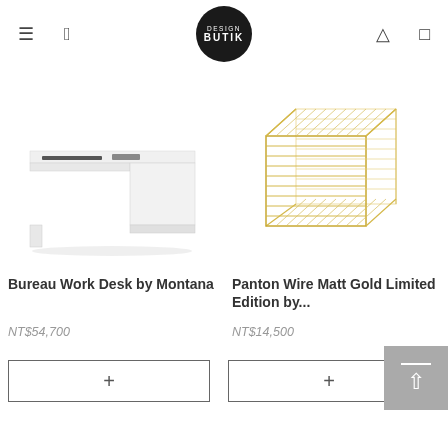DESIGN BUTIK
[Figure (photo): White modern office desk (Bureau Work Desk by Montana) on white background]
Bureau Work Desk by Montana
NT$54,700
[Figure (photo): Gold wire frame cube side table (Panton Wire Matt Gold Limited Edition) on white background]
Panton Wire Matt Gold Limited Edition by...
NT$14,500